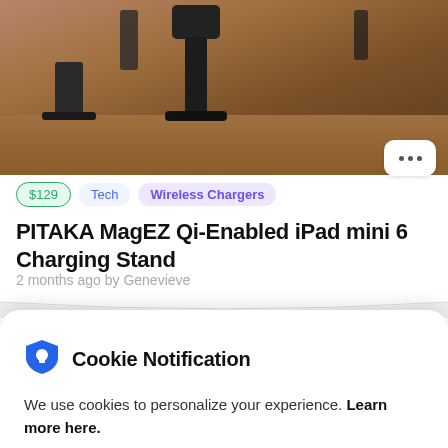[Figure (photo): Photo of PITAKA MagEZ charging stand and iPad mini on a wooden desk surface]
$129  Tech  Wireless Chargers
PITAKA MagEZ Qi-Enabled iPad mini 6 Charging Stand
2 months ago by Genevieve
Cookie Notification
We use cookies to personalize your experience. Learn more here.
I Don't Accept
I Accept